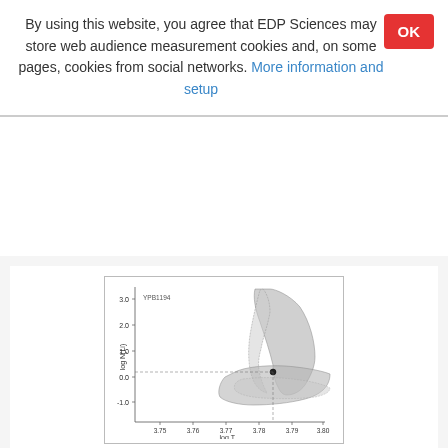By using this website, you agree that EDP Sciences may store web audience measurement cookies and, on some pages, cookies from social networks. More information and setup
[Figure (continuous-plot): Scientific plot showing log N(Li) vs log T_eff for solar twin YPB1194 in open cluster M 67. Two shaded bands (regions) are visible: one nearly vertical region curving from upper right toward center, and one nearly horizontal region extending to the right. A data point (filled circle) is marked at the intersection of the two bands. The y-axis is labeled log N(Li) with values from ~0.0 to 3.0, and the x-axis is labeled log T_eff. Label YPB1194 appears in the upper left of the plot area.]
Fig. 4
Solar twin YPB1194 of open cluster M 67 observed by Pasquini et al. (2008): Li destruction